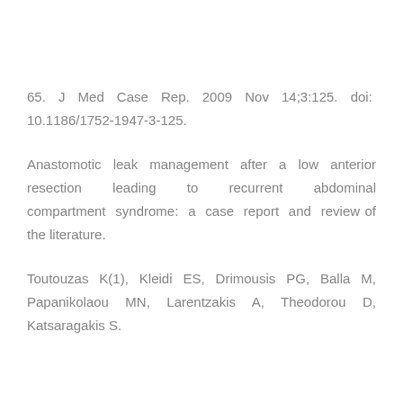65. J Med Case Rep. 2009 Nov 14;3:125. doi: 10.1186/1752-1947-3-125.
Anastomotic leak management after a low anterior resection leading to recurrent abdominal compartment syndrome: a case report and review of the literature.
Toutouzas K(1), Kleidi ES, Drimousis PG, Balla M, Papanikolaou MN, Larentzakis A, Theodorou D, Katsaragakis S.